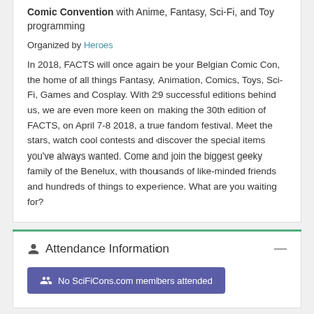Comic Convention with Anime, Fantasy, Sci-Fi, and Toy programming
Organized by Heroes
In 2018, FACTS will once again be your Belgian Comic Con, the home of all things Fantasy, Animation, Comics, Toys, Sci-Fi, Games and Cosplay. With 29 successful editions behind us, we are even more keen on making the 30th edition of FACTS, on April 7-8 2018, a true fandom festival. Meet the stars, watch cool contests and discover the special items you've always wanted. Come and join the biggest geeky family of the Benelux, with thousands of like-minded friends and hundreds of things to experience. What are you waiting for?
Attendance Information
No SciFiCons.com members attended